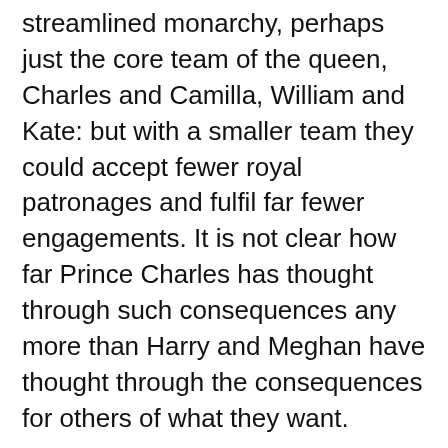streamlined monarchy, perhaps just the core team of the queen, Charles and Camilla, William and Kate: but with a smaller team they could accept fewer royal patronages and fulfil far fewer engagements. It is not clear how far Prince Charles has thought through such consequences any more than Harry and Meghan have thought through the consequences for others of what they want.
The media has portrayed this as a crisis for the monarchy, and it is indeed a family crisis, but the monarchy as an institution will suffer no serious or lasting damage. Opinion polls consistently show between 70 and 80% support for preserving the monarchy – popularity ratings politicians would die for. The damage is more likely to be suffered by